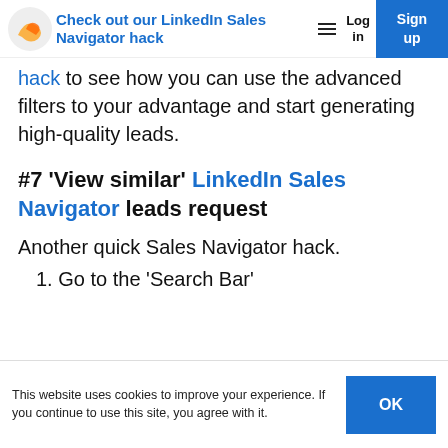Expandi — Check out our LinkedIn Sales Navigator hack
Check out our LinkedIn Sales Navigator hack to see how you can use the advanced filters to your advantage and start generating high-quality leads.
#7 'View similar' LinkedIn Sales Navigator leads request
Another quick Sales Navigator hack.
1. Go to the 'Search Bar'
This website uses cookies to improve your experience. If you continue to use this site, you agree with it.